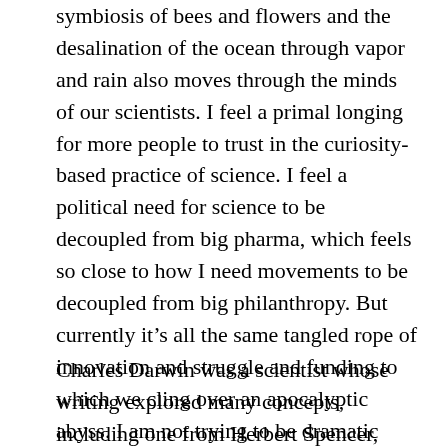symbiosis of bees and flowers and the desalination of the ocean through vapor and rain also moves through the minds of our scientists. I feel a primal longing for more people to trust in the curiosity-based practice of science. I feel a political need for science to be decoupled from big pharma, which feels so close to how I need movements to be decoupled from big philanthropy. But currently it's all the same tangled rope of innovation and struggle and funding to which we cling over an apocalyptic abyss. I am not trying to be dramatic here, I'm just being with what is.
Charles Darwin was a scientist whose writing explored many concepts, including one from Herbert Spencer, 'survival of the fittest.' The